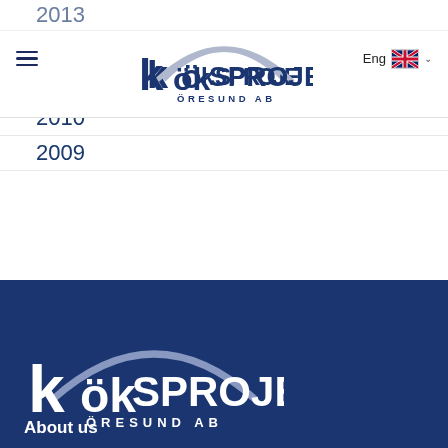Köksprojekt Öresund AB — navigation header with hamburger menu and language selector (Eng)
2013 (partially visible)
2012
2011
2010
2009
Köksprojekt Öresund AB logo and About us
About us